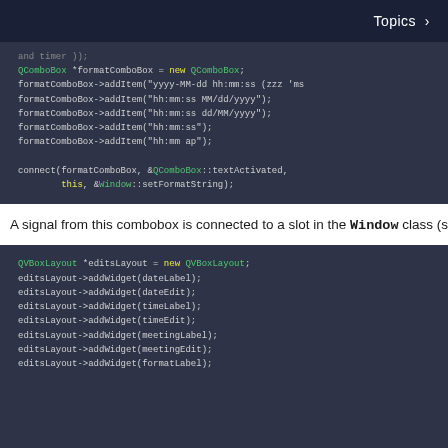Topics >
[Figure (screenshot): Code block showing QComboBox usage: formatComboBox setup with addItem calls for date/time formats, and connect() call linking textActivated signal to Window::setFormatString slot.]
A signal from this combobox is connected to a slot in the Window class (s
[Figure (screenshot): Code block showing QVBoxLayout *editsLayout = new QVBoxLayout; followed by editsLayout->addWidget calls for dateLabel, dateEdit, timeLabel, timeEdit, meetingLabel, meetingEdit, formatLabel.]